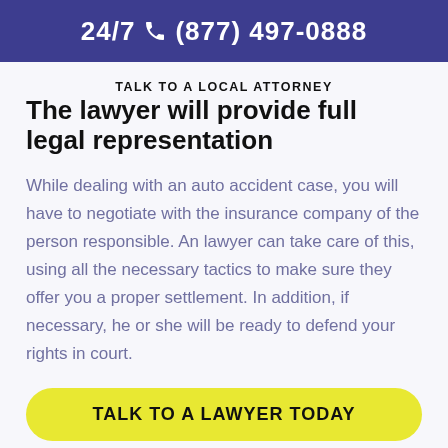24/7 (877) 497-0888
TALK TO A LOCAL ATTORNEY
The lawyer will provide full legal representation
While dealing with an auto accident case, you will have to negotiate with the insurance company of the person responsible. An lawyer can take care of this, using all the necessary tactics to make sure they offer you a proper settlement. In addition, if necessary, he or she will be ready to defend your rights in court.
TALK TO A LAWYER TODAY